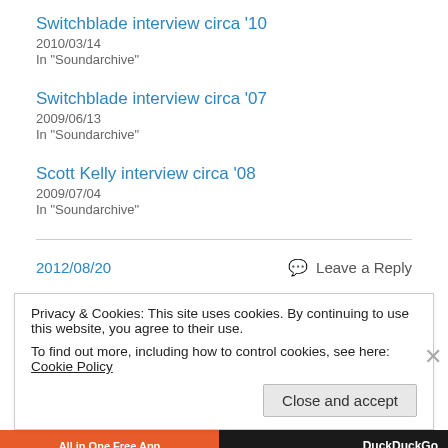Switchblade interview circa '10
2010/03/14
In "Soundarchive"
Switchblade interview circa '07
2009/06/13
In "Soundarchive"
Scott Kelly interview circa '08
2009/07/04
In "Soundarchive"
2012/08/20   💬 Leave a Reply
Privacy & Cookies: This site uses cookies. By continuing to use this website, you agree to their use.
To find out more, including how to control cookies, see here: Cookie Policy
Close and accept
All in One Free App   DuckDuckGo